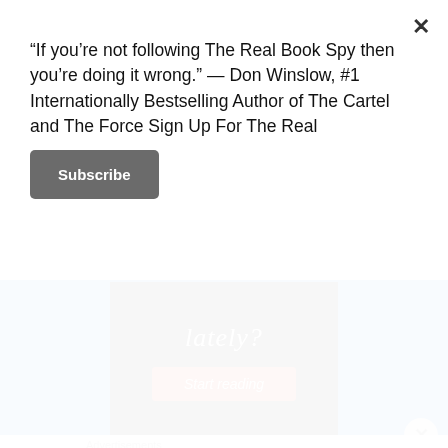“If you’re not following The Real Book Spy then you’re doing it wrong.” — Don Winslow, #1 Internationally Bestselling Author of The Cartel and The Force Sign Up For The Real
Subscribe
[Figure (other): Advertisement banner with blue background, black inner box showing the word 'lately?' in white italic text, and a red 'Start reading' button. REPORT THIS AD text at bottom right.]
Advertisements
[Figure (other): Macy's advertisement banner: red background with woman's face showing lips. Text reads 'KISS BORING LIPS GOODBYE' on the left. Right side has 'SHOP NOW' in a white box and Macy's star logo.]